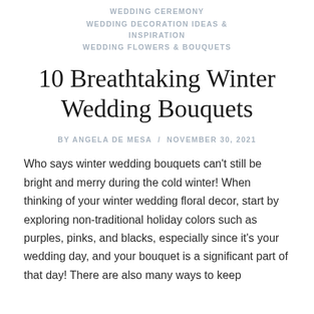WEDDING CEREMONY
WEDDING DECORATION IDEAS & INSPIRATION
WEDDING FLOWERS & BOUQUETS
10 Breathtaking Winter Wedding Bouquets
BY ANGELA DE MESA / NOVEMBER 30, 2021
Who says winter wedding bouquets can't still be bright and merry during the cold winter! When thinking of your winter wedding floral decor, start by exploring non-traditional holiday colors such as purples, pinks, and blacks, especially since it's your wedding day, and your bouquet is a significant part of that day! There are also many ways to keep